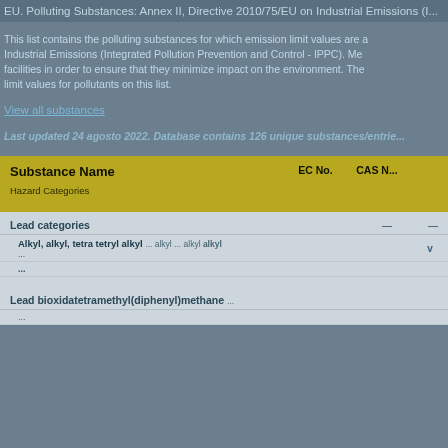EU. Polluting Substances: Annex II, Directive 2010/75/EU on Industrial Emissions (I...
This list contains the polluting substances for which emission limit values are a... Industrial Emissions (Integrated Pollution Prevention and Control - IPPC). Me... facilities in order to ensure that they minimize impact on the environment. The... limit values for pollutants on this list.
View all substances
Last updated 24 agosto 2022. Database contains 126 unique substances/entrie...
| Substance Name | Hazard Categories | EC No. | CAS N... |
| --- | --- | --- | --- |
| Last categories |  |  |  |
| Alkyl, alkyl, tetra tetryl alkyl ... alkyl ... alkyl alkyl | v |  |  |
| ... |  |  |  |
| ... |  |  |  |
| Lead bioxidatetramethyl(diphenyl)methane | ... |  |  |
| ... |  |  |  |